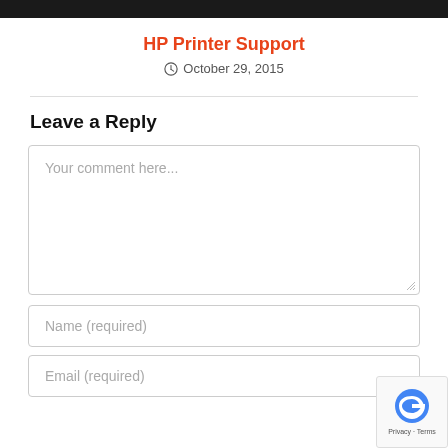HP Printer Support
October 29, 2015
Leave a Reply
Your comment here...
Name (required)
Email (required)